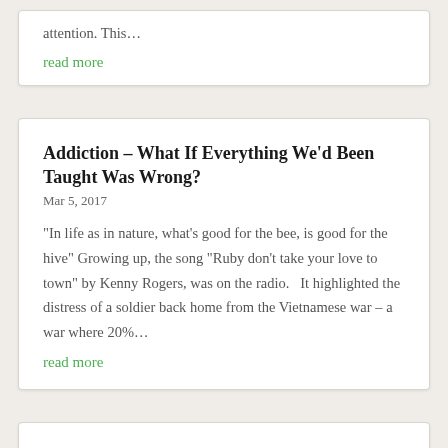attention.  This…
read more
Addiction – What If Everything We'd Been Taught Was Wrong?
Mar 5, 2017
“In life as in nature, what’s good for the bee, is good for the hive” Growing up, the song “Ruby don’t take your love to town” by Kenny Rogers, was on the radio.   It highlighted the distress of a soldier back home from the Vietnamese war – a war where 20%…
read more
GUT – A Great Read If You Can Stomach It
Feb 25, 2017